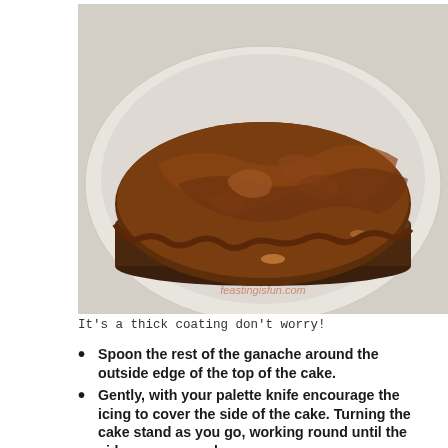[Figure (photo): Top-down view of a chocolate cake with thick chocolate ganache/frosting spread across the top, sitting on a white plate. The cake is a dark chocolate brownie-style cake visible at the sides. A watermark reads 'feastingisfun.com' in salmon/orange text.]
It's a thick coating don't worry!
Spoon the rest of the ganache around the outside edge of the top of the cake.
Gently, with your palette knife encourage the icing to cover the side of the cake. Turning the cake stand as you go, working round until the sides are covered.